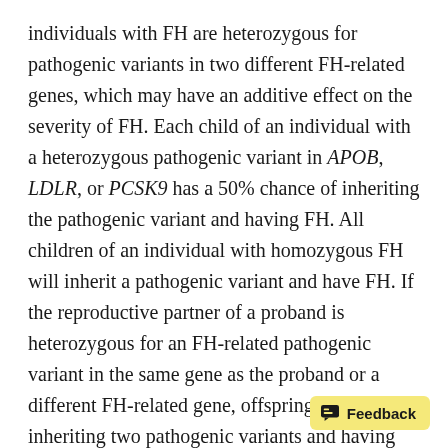individuals with FH are heterozygous for pathogenic variants in two different FH-related genes, which may have an additive effect on the severity of FH. Each child of an individual with a heterozygous pathogenic variant in APOB, LDLR, or PCSK9 has a 50% chance of inheriting the pathogenic variant and having FH. All children of an individual with homozygous FH will inherit a pathogenic variant and have FH. If the reproductive partner of a proband is heterozygous for an FH-related pathogenic variant in the same gene as the proband or a different FH-related gene, offspring are at risk of inheriting two pathogenic variants and having severe FH.